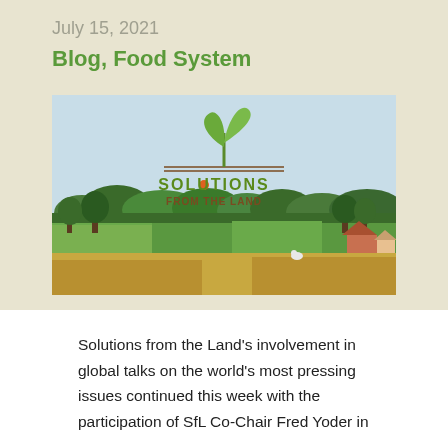July 15, 2021
Blog, Food System
[Figure (illustration): Solutions from the Land logo and landscape illustration. Logo shows a green seedling sprout above two horizontal brown lines with text 'SOLUTIONS FROM THE LAND'. Background shows a painted countryside landscape with green fields, trees, and a farmhouse.]
Solutions from the Land's involvement in global talks on the world's most pressing issues continued this week with the participation of SfL Co-Chair Fred Yoder in